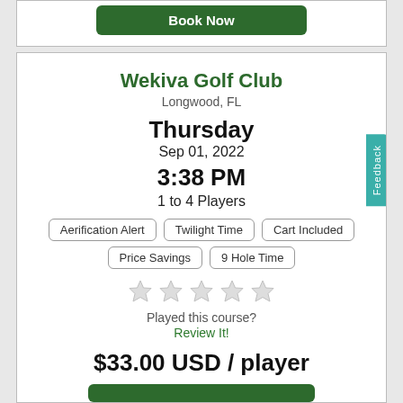[Figure (screenshot): Book Now button at top of page in a white card]
Wekiva Golf Club
Longwood, FL
Thursday
Sep 01, 2022
3:38 PM
1 to 4 Players
Aerification Alert
Twilight Time
Cart Included
Price Savings
9 Hole Time
Played this course?
Review It!
$33.00 USD / player